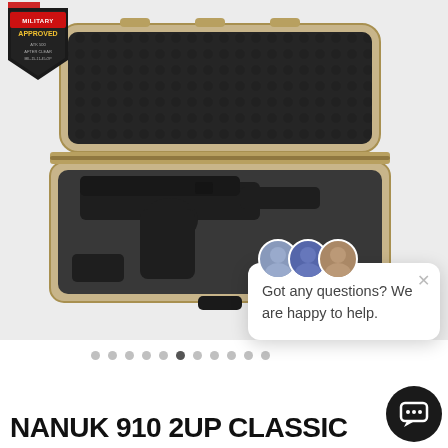[Figure (photo): Open tan/sandy NANUK 910 hard case with dark foam egg-crate lining in the lid and custom gun-shaped foam cutout in the base, with a military approved badge in the top-left corner.]
[Figure (screenshot): Live chat popup widget with three staff avatars, an X close button, and the message: Got any questions? We are happy to help.]
Got any questions? We are happy to help.
NANUK 910 2UP CLASSIC